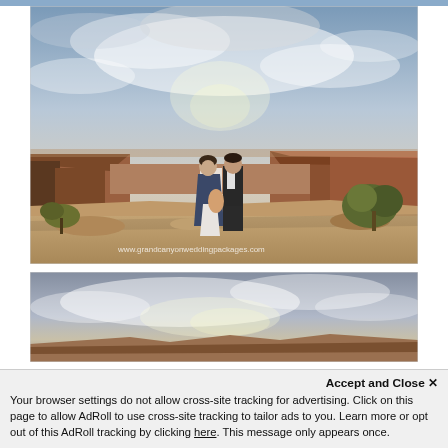[Figure (photo): Wedding couple standing on the edge of Grand Canyon rim with dramatic cloudy sky. Woman in white dress with dark blue/navy cape, man in dark suit. Canyon landscape with red rock formations in background. Watermark: www.grandcanyonweddingpackages.com]
[Figure (photo): Partial view of Grand Canyon landscape with dramatic cloudy sky, canyon rim visible at bottom edge]
Accept and Close ✕
Your browser settings do not allow cross-site tracking for advertising. Click on this page to allow AdRoll to use cross-site tracking to tailor ads to you. Learn more or opt out of this AdRoll tracking by clicking here. This message only appears once.